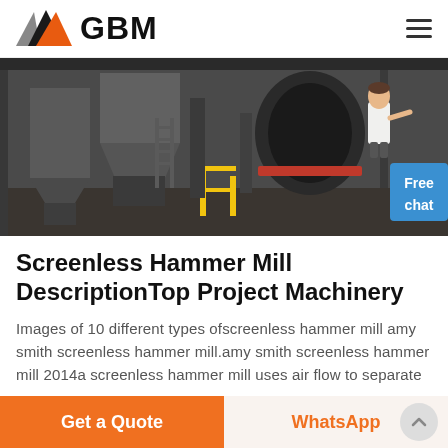GBM
[Figure (photo): Industrial machinery photo showing hammer mill equipment with hoppers, conveyors and mechanical equipment in a factory setting. A customer service representative figure and a blue 'Free chat' button overlay the bottom-right corner.]
Screenless Hammer Mill DescriptionTop Project Machinery
Images of 10 different types ofscreenless hammer mill amy smith screenless hammer mill.amy smith screenless hammer mill 2014a screenless hammer mill uses air flow to separate
Get a Quote   WhatsApp